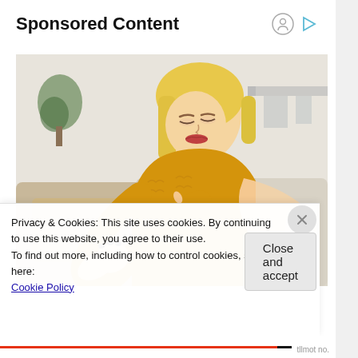Sponsored Content
[Figure (photo): Woman in yellow sweater looking at her arm/wrist with a concerned expression, seated on a couch]
Privacy & Cookies: This site uses cookies. By continuing to use this website, you agree to their use.
To find out more, including how to control cookies, see here:
Cookie Policy
Close and accept